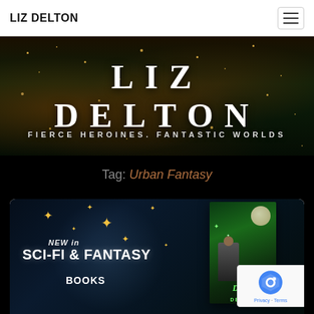LIZ DELTON
[Figure (illustration): Banner image with dark starry/sparkle background, large white serif text 'LIZ DELTON' with wide letter-spacing, and subtitle 'FIERCE HEROINES. FANTASTIC WORLDS']
Tag: Urban Fantasy
[Figure (illustration): Promotional book banner on dark blue/teal background with gold sparkle stars. Left side reads 'NEW in SCI-FI & FANTASY BOOKS' in bold white text. Right side shows a book cover for 'Dawn Demon' with a green glowing cover featuring a female figure and moon.]